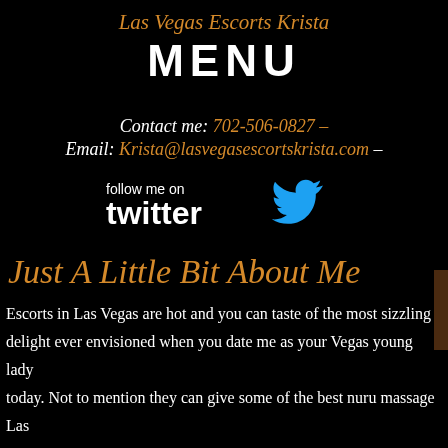Las Vegas Escorts Krista
MENU
Contact me: 702-506-0827 –
Email: Krista@lasvegasescortskrista.com –
[Figure (logo): Follow me on Twitter bird logo in cyan/blue]
Just A Little Bit About Me
Escorts in Las Vegas are hot and you can taste of the most sizzling delight ever envisioned when you date me as your Vegas young lady today. Not to mention they can give some of the best nuru massage Las